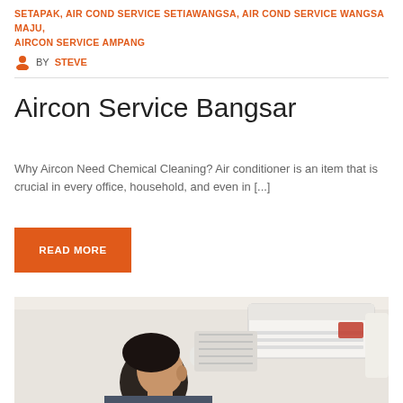SETAPAK, AIR COND SERVICE SETIAWANGSA, AIR COND SERVICE WANGSA MAJU, AIRCON SERVICE AMPANG
BY STEVE
Aircon Service Bangsar
Why Aircon Need Chemical Cleaning? Air conditioner is an item that is crucial in every office, household, and even in [...]
READ MORE
[Figure (photo): A technician servicing / cleaning an air conditioning unit mounted on a wall]